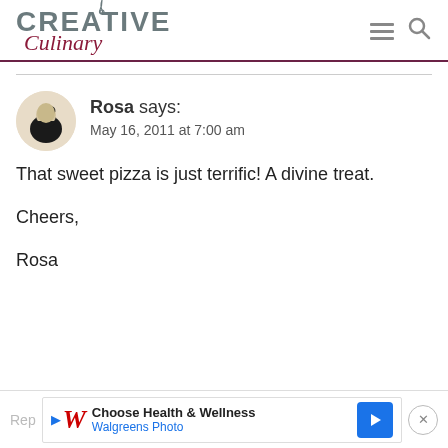Creative Culinary
Rosa says:
May 16, 2011 at 7:00 am

That sweet pizza is just terrific! A divine treat.

Cheers,

Rosa
[Figure (other): Walgreens advertisement banner: Choose Health & Wellness - Walgreens Photo]